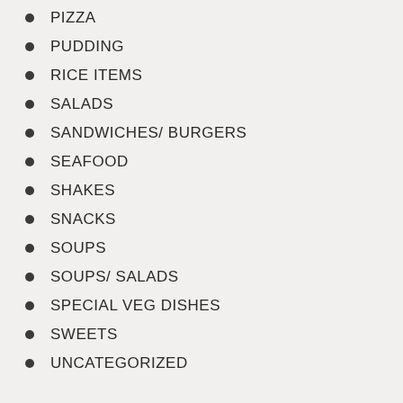PIZZA
PUDDING
RICE ITEMS
SALADS
SANDWICHES/ BURGERS
SEAFOOD
SHAKES
SNACKS
SOUPS
SOUPS/ SALADS
SPECIAL VEG DISHES
SWEETS
UNCATEGORIZED